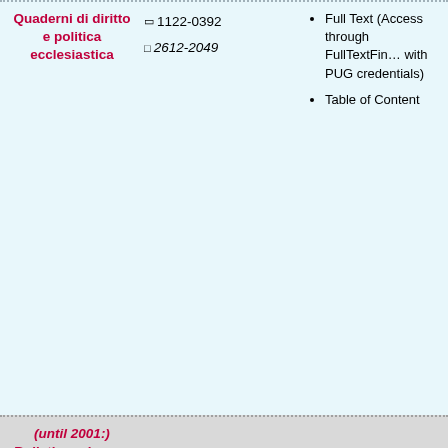| Title | ISSN | Access |
| --- | --- | --- |
| Quaderni di diritto e politica ecclesiastica | 1122-0392 / 2612-2049 | Full Text (Access through FullTextFinder with PUG credentials)
Table of Content |
| (until 2001:)
Bulletin on issues of Religious law |  |  |
| Revista Brasileira de Direito Canônico | 1981-7096
PUG: 1986-2005: DirPast 2006-: RBDC | Presentation |